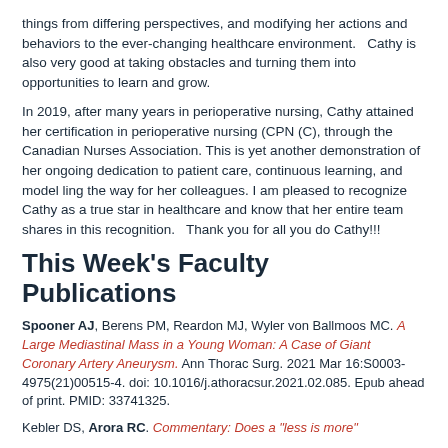things from differing perspectives, and modifying her actions and behaviors to the ever-changing healthcare environment.  Cathy is also very good at taking obstacles and turning them into opportunities to learn and grow.
In 2019, after many years in perioperative nursing, Cathy attained her certification in perioperative nursing (CPN (C), through the Canadian Nurses Association. This is yet another demonstration of her ongoing dedication to patient care, continuous learning, and model ling the way for her colleagues. I am pleased to recognize Cathy as a true star in healthcare and know that her entire team shares in this recognition.  Thank you for all you do Cathy!!!
This Week's Faculty Publications
Spooner AJ, Berens PM, Reardon MJ, Wyler von Ballmoos MC. A Large Mediastinal Mass in a Young Woman: A Case of Giant Coronary Artery Aneurysm. Ann Thorac Surg. 2021 Mar 16:S0003-4975(21)00515-4. doi: 10.1016/j.athoracsur.2021.02.085. Epub ahead of print. PMID: 33741325.
Kebler DS, Arora RC. Commentary: Does a "less is more"